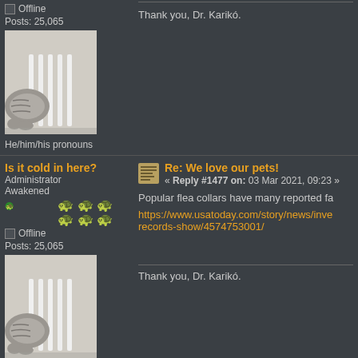Offline
Posts: 25,065
[Figure (photo): Avatar image of a cat behind a white radiator]
He/him/his pronouns
I am so sorry for your loss. They are family...
Thank you, Dr. Karikó.
Is it cold in here?
Administrator
Awakened
Offline
Posts: 25,065
[Figure (photo): Avatar image of a cat behind a white radiator]
He/him/his pronouns
Re: We love our pets!
« Reply #1477 on: 03 Mar 2021, 09:23 »
Popular flea collars have many reported fa
https://www.usatoday.com/story/news/inve
records-show/4574753001/
Thank you, Dr. Karikó.
Cornelius
Duck attack survivor
« Reply #1478 on: 03 Mar 2021, 21:42 »